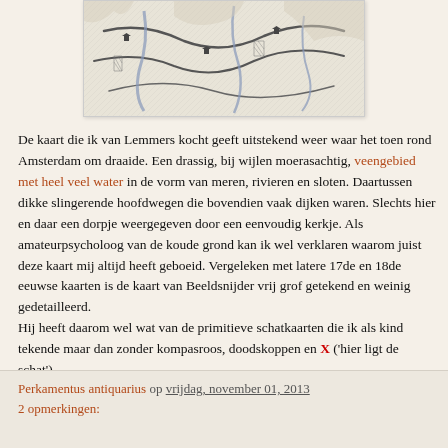[Figure (illustration): A historical map showing the area around Amsterdam, with roads, waterways, and settlements depicted in an old engraving style.]
De kaart die ik van Lemmers kocht geeft uitstekend weer waar het toen rond Amsterdam om draaide. Een drassig, bij wijlen moerasachtig, veengebied met heel veel water in de vorm van meren, rivieren en sloten. Daartussen dikke slingerende hoofdwegen die bovendien vaak dijken waren. Slechts hier en daar een dorpje weergegeven door een eenvoudig kerkje. Als amateurpsycholoog van de koude grond kan ik wel verklaren waarom juist deze kaart mij altijd heeft geboeid. Vergeleken met latere 17de en 18de eeuwse kaarten is de kaart van Beeldsnijder vrij grof getekend en weinig gedetailleerd.
Hij heeft daarom wel wat van de primitieve schatkaarten die ik als kind tekende maar dan zonder kompasroos, doodskoppen en X ('hier ligt de schat').
Perkamentus antiquarius op vrijdag, november 01, 2013
2 opmerkingen: